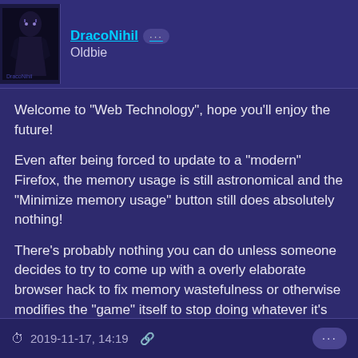DracoNihil ··· Oldbie
Welcome to "Web Technology", hope you'll enjoy the future!
Even after being forced to update to a "modern" Firefox, the memory usage is still astronomical and the "Minimize memory usage" button still does absolutely nothing!
There's probably nothing you can do unless someone decides to try to come up with a overly elaborate browser hack to fix memory wastefulness or otherwise modifies the "game" itself to stop doing whatever it's doing wrongly.
Steam Profile
YouTube Channel
Seal of Nehahra
2019-11-17, 14:19